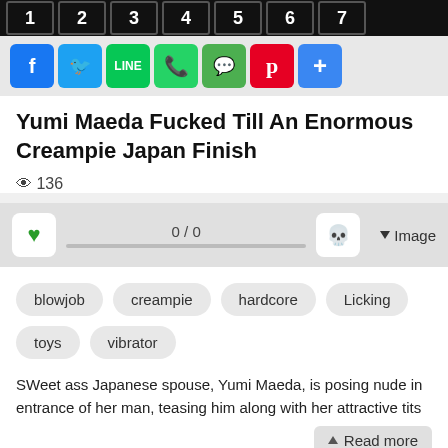1 2 3 4 5 6 7
[Figure (other): Social sharing icons: Facebook, Twitter, LINE, WhatsApp, WeChat, Pinterest, More]
Yumi Maeda Fucked Till An Enormous Creampie Japan Finish
👁 136
[Figure (other): Rating bar with heart button, 0/0 score, skull button, and Image dropdown]
blowjob
creampie
hardcore
Licking
toys
vibrator
SWeet ass Japanese spouse, Yumi Maeda, is posing nude in entrance of her man, teasing him along with her attractive tits
Read more